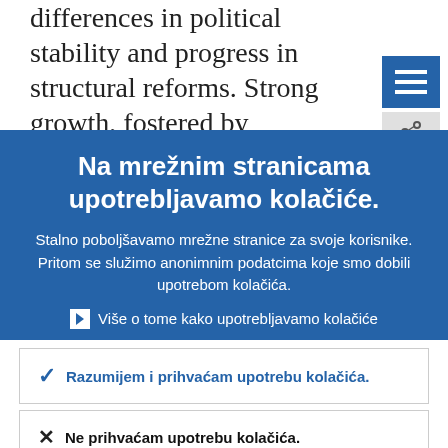differences in political stability and progress in structural reforms. Strong growth, fostered by structural reforms, investment and FDI, has been a key factor of economic...
Na mrežnim stranicama upotrebljavamo kolačiće.
Stalno poboljšavamo mrežne stranice za svoje korisnike. Pritom se služimo anonimnim podatcima koje smo dobili upotrebom kolačića.
Više o tome kako upotrebljavamo kolačiće
Razumijem i prihvaćam upotrebu kolačića.
Ne prihvaćam upotrebu kolačića.